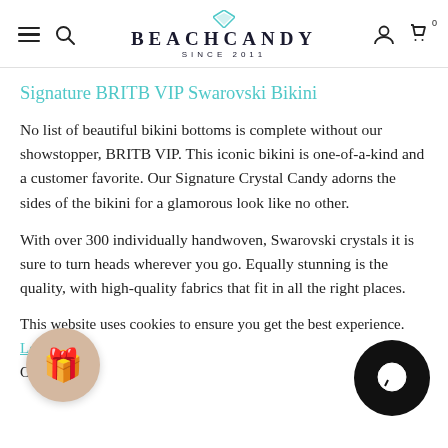BEACHCANDY SINCE 2011
Signature BRITB VIP Swarovski Bikini
No list of beautiful bikini bottoms is complete without our showstopper, BRITB VIP. This iconic bikini is one-of-a-kind and a customer favorite. Our Signature Crystal Candy adorns the sides of the bikini for a glamorous look like no other.
With over 300 individually handwoven, Swarovski crystals it is sure to turn heads wherever you go. Equally stunning is the quality, with high-quality fabrics that fit in all the right places.
This website uses cookies to ensure you get the best experience. Learn more
Ok, got it